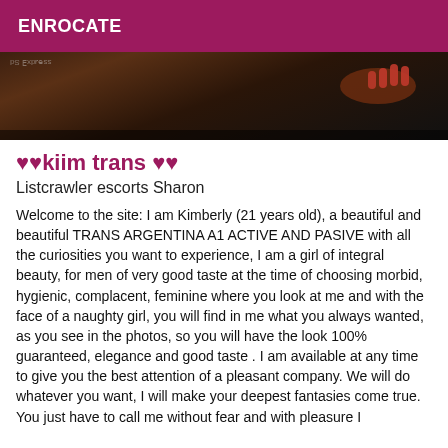ENROCATE
[Figure (photo): Partial photo with dark background showing red fingernails and dark skin tones, with a watermark text visible]
♥♥kiim trans ♥♥
Listcrawler escorts Sharon
Welcome to the site: I am Kimberly (21 years old), a beautiful and beautiful TRANS ARGENTINA A1 ACTIVE AND PASIVE with all the curiosities you want to experience, I am a girl of integral beauty, for men of very good taste at the time of choosing morbid, hygienic, complacent, feminine where you look at me and with the face of a naughty girl, you will find in me what you always wanted, as you see in the photos, so you will have the look 100% guaranteed, elegance and good taste . I am available at any time to give you the best attention of a pleasant company. We will do whatever you want, I will make your deepest fantasies come true. You just have to call me without fear and with pleasure I